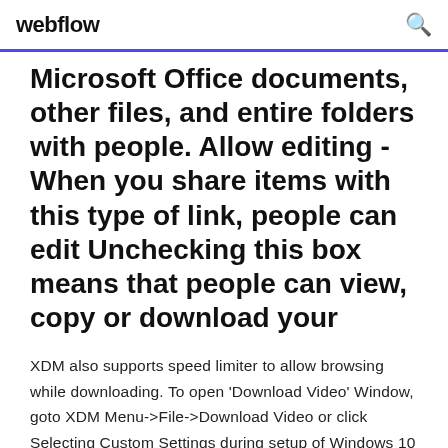webflow
Microsoft Office documents, other files, and entire folders with people. Allow editing - When you share items with this type of link, people can edit Unchecking this box means that people can view, copy or download your
XDM also supports speed limiter to allow browsing while downloading. To open 'Download Video' Window, goto XDM Menu->File->Download Video or click  Selecting Custom Settings during setup of Windows 10